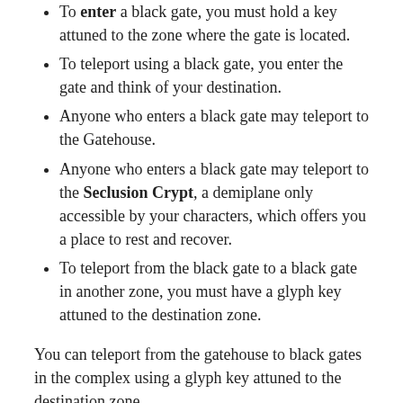To enter a black gate, you must hold a key attuned to the zone where the gate is located.
To teleport using a black gate, you enter the gate and think of your destination.
Anyone who enters a black gate may teleport to the Gatehouse.
Anyone who enters a black gate may teleport to the Seclusion Crypt, a demiplane only accessible by your characters, which offers you a place to rest and recover.
To teleport from the black gate to a black gate in another zone, you must have a glyph key attuned to the destination zone.
You can teleport from the gatehouse to black gates in the complex using a glyph key attuned to the destination zone.
With either type of gate, someone holding a properly attuned key can stand in the gate and hold it open so others can pass. With black gates, the person holding the key decides on